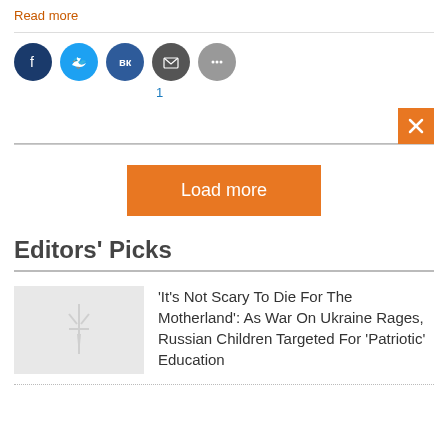Read more
1
Load more
Editors' Picks
'It's Not Scary To Die For The Motherland': As War On Ukraine Rages, Russian Children Targeted For 'Patriotic' Education